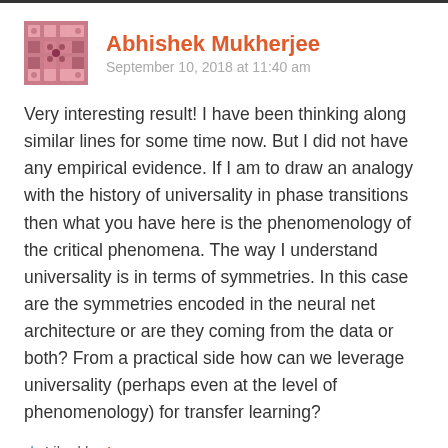Abhishek Mukherjee
September 10, 2018 at 11:40 am
Very interesting result! I have been thinking along similar lines for some time now. But I did not have any empirical evidence. If I am to draw an analogy with the history of universality in phase transitions then what you have here is the phenomenology of the critical phenomena. The way I understand universality is in terms of symmetries. In this case are the symmetries encoded in the neural net architecture or are they coming from the data or both? From a practical side how can we leverage universality (perhaps even at the level of phenomenology) for transfer learning?
Liked by 1 person